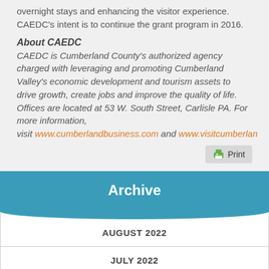overnight stays and enhancing the visitor experience. CAEDC's intent is to continue the grant program in 2016.
About CAEDC
CAEDC is Cumberland County's authorized agency charged with leveraging and promoting Cumberland Valley's economic development and tourism assets to drive growth, create jobs and improve the quality of life. Offices are located at 53 W. South Street, Carlisle PA. For more information, visit www.cumberlandbusiness.com and www.visitcumberland...
[Figure (other): Print button with printer icon]
Archive
AUGUST 2022
JULY 2022